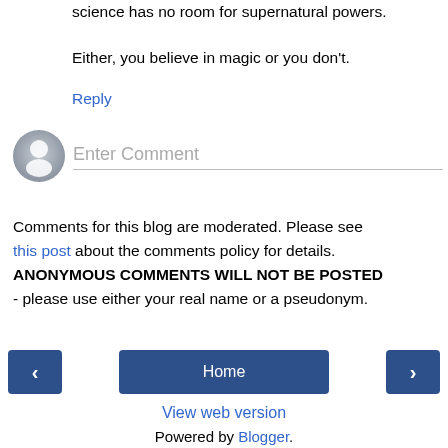science has no room for supernatural powers.
Either, you believe in magic or you don't.
Reply
[Figure (illustration): User avatar placeholder icon (grey silhouette) with an Enter Comment input field below]
Comments for this blog are moderated. Please see this post about the comments policy for details. ANONYMOUS COMMENTS WILL NOT BE POSTED - please use either your real name or a pseudonym.
< Home > View web version Powered by Blogger.